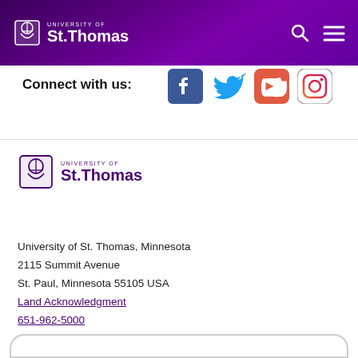University of St. Thomas header navigation
Connect with us:
[Figure (logo): Facebook, Twitter, YouTube, Instagram social media icons]
[Figure (logo): University of St. Thomas logo with shield emblem]
University of St. Thomas, Minnesota
2115 Summit Avenue
St. Paul, Minnesota 55105 USA
Land Acknowledgment
651-962-5000